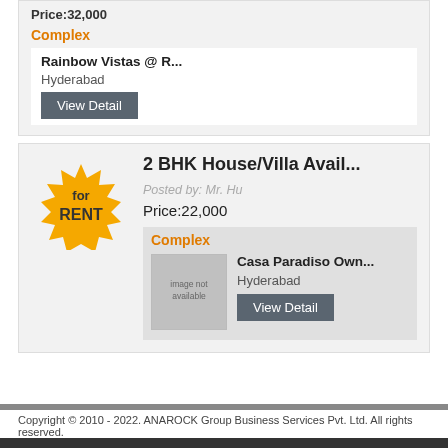Price:32,000
Complex
Rainbow Vistas @ R...
Hyderabad
View Detail
2 BHK House/Villa Avail...
Posted by: Mr. Hu
Price:22,000
Complex
[Figure (photo): Image not available placeholder for Casa Paradiso complex]
Casa Paradiso Own...
Hyderabad
View Detail
Copyright © 2010 - 2022. ANAROCK Group Business Services Pvt. Ltd. All rights reserved.